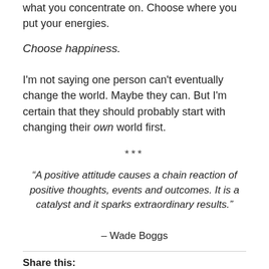what you concentrate on.  Choose where you put your energies.
Choose happiness.
I'm not saying one person can't eventually change the world.  Maybe they can.  But I'm certain that they should probably start with changing their own world first.
***
“A positive attitude causes a chain reaction of positive thoughts, events and outcomes.  It is a catalyst and it sparks extraordinary results.” – Wade Boggs
Share this: